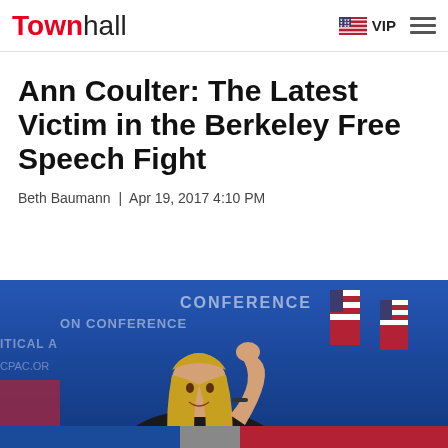Townhall | VIP
Ann Coulter: The Latest Victim in the Berkeley Free Speech Fight
Beth Baumann  |  Apr 19, 2017 4:10 PM
[Figure (photo): Ann Coulter waving at CPAC conference with American flags in background, blue backdrop with 'POLITICAL ACTION CONFERENCE' text and cpac.org URL visible]
[Figure (photo): Partial bottom strip showing another image below the main photo]